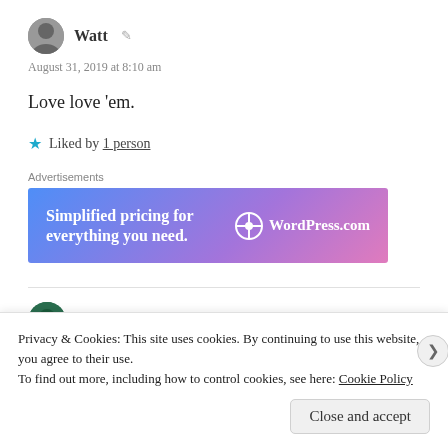Watt
August 31, 2019 at 8:10 am
Love love 'em.
★ Liked by 1 person
Advertisements
[Figure (screenshot): WordPress.com advertisement banner with text 'Simplified pricing for everything you need.' and WordPress.com logo on gradient blue-purple-pink background]
Supernatural Hippie
Privacy & Cookies: This site uses cookies. By continuing to use this website, you agree to their use.
To find out more, including how to control cookies, see here: Cookie Policy